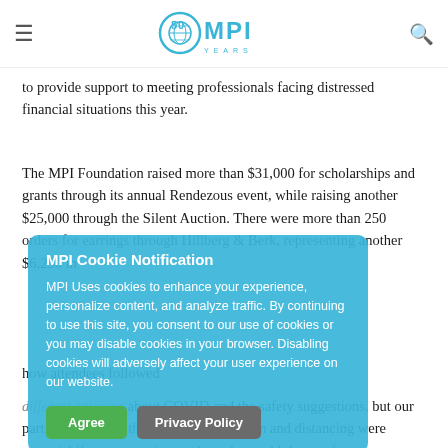MPI 50 Years logo, hamburger menu, search icon
to provide support to meeting professionals facing distressed financial situations this year.
The MPI Foundation raised more than $31,000 for scholarships and grants through its annual Rendezous event, while raising another $25,000 through the Silent Auction. There were more than 250 orders for earrings through Hillberg & Berk, representing another $6,250 in
how attendees followed
different opinions about COVID and the safety suggestions, but our participants knew that masking, sanitation and distancing were essential if we were going to show the world that conferences can
MPI Cookie Notification
MPI Uses cookies to enhance your experience, personalize content, and analyze traffic. By continuing to use this site, you consent to our use of cookies or you may disable cookies in your browser. Disabling cookies will adversely affect your user experience on our website.